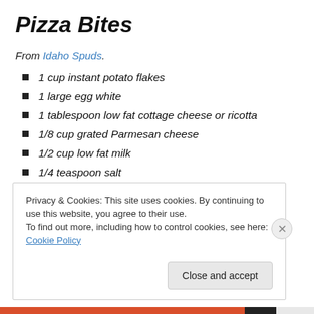Pizza Bites
From Idaho Spuds.
1 cup instant potato flakes
1 large egg white
1 tablespoon low fat cottage cheese or ricotta
1/8 cup grated Parmesan cheese
1/2 cup low fat milk
1/4 teaspoon salt
Privacy & Cookies: This site uses cookies. By continuing to use this website, you agree to their use. To find out more, including how to control cookies, see here: Cookie Policy